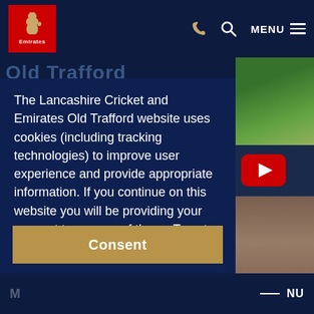[Figure (logo): Emirates airline logo - red square with white Emirates text and emblem]
Old Trafford
The Lancashire Cricket and Emirates Old Trafford website uses cookies (including tracking technologies) to improve user experience and provide appropriate information. If you continue on this website you will be providing your consent to our use of these. To get more information about these cookies and how we use them click on 'Find Out More'. To consent, please click on the 'Consent' button  Find Out More
Consent